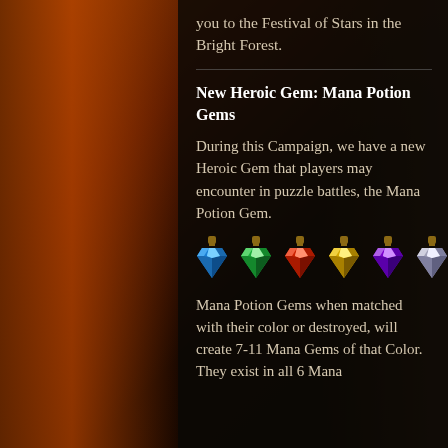you to the Festival of Stars in the Bright Forest.
New Heroic Gem: Mana Potion Gems
During this Campaign, we have a new Heroic Gem that players may encounter in puzzle battles, the Mana Potion Gem.
[Figure (illustration): Six mana potion gem icons in a row: blue, green, red, yellow, purple, and white/gray colored gem-shaped potion bottles with cork stoppers.]
Mana Potion Gems when matched with their color or destroyed, will create 7-11 Mana Gems of that Color. They exist in all 6 Mana